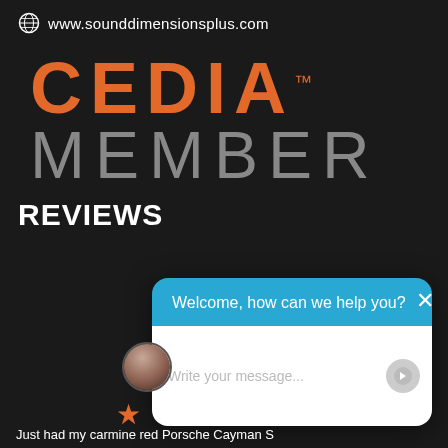www.sounddimensionsplus.com
[Figure (logo): CEDIA MEMBER logo — CEDIA in large orange letters with trademark symbol, MEMBER in large grey letters below]
REVIEWS
[Figure (screenshot): Chat widget overlay with blue header saying 'Welcome, how can we help you?' and white body with placeholder text 'Write your message...' and a send button. A circular avatar photo appears to the left. A close X button is in the top right corner.]
Just had my carmine red Porsche Cayman S